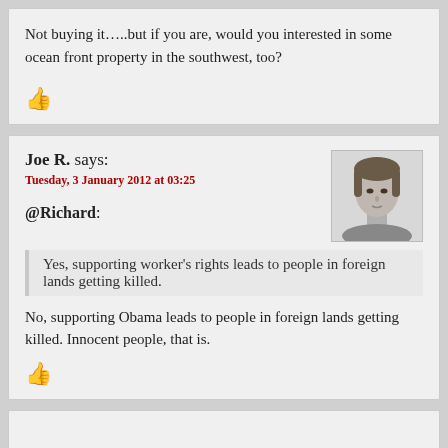Not buying it…..but if you are, would you interested in some ocean front property in the southwest, too?
Joe R. says: Tuesday, 3 January 2012 at 03:25
@Richard:
Yes, supporting worker's rights leads to people in foreign lands getting killed.
No, supporting Obama leads to people in foreign lands getting killed. Innocent people, that is.